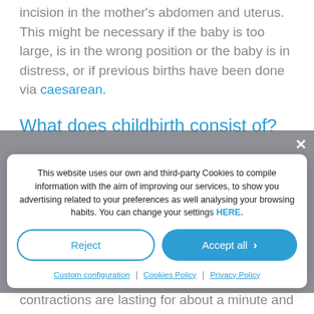incision in the mother's abdomen and uterus. This might be necessary if the baby is too large, is in the wrong position or the baby is in distress, or if previous births have been done via caesarean.
What does childbirth consist of?
This website uses our own and third-party Cookies to compile information with the aim of improving our services, to show you advertising related to your preferences as well analysing your browsing habits. You can change your settings HERE.
contractions are lasting for about a minute and